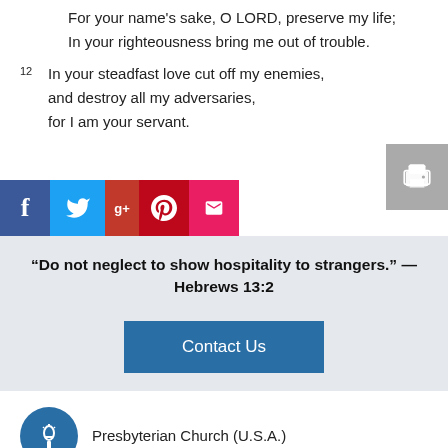For your name's sake, O LORD, preserve my life;
    In your righteousness bring me out of trouble.
12  In your steadfast love cut off my enemies,
    and destroy all my adversaries,
    for I am your servant.
[Figure (other): Social sharing buttons: Facebook (blue), Twitter (light blue), Google+ (dark red), Pinterest (red), Email (pink), and a print button (gray) with printer icon.]
“Do not neglect to show hospitality to strangers.” — Hebrews 13:2
Contact Us
[Figure (logo): Presbyterian Church (U.S.A.) circular blue logo with white torch/flame icon]
Presbyterian Church (U.S.A.)